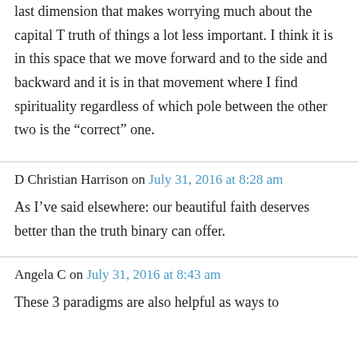last dimension that makes worrying much about the capital T truth of things a lot less important. I think it is in this space that we move forward and to the side and backward and it is in that movement where I find spirituality regardless of which pole between the other two is the “correct” one.
D Christian Harrison on July 31, 2016 at 8:28 am
As I’ve said elsewhere: our beautiful faith deserves better than the truth binary can offer.
Angela C on July 31, 2016 at 8:43 am
These 3 paradigms are also helpful as ways to